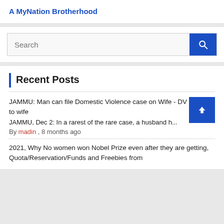A MyNation Brotherhood
Search
Recent Posts
JAMMU: Man can file Domestic Violence case on Wife - DV Notice to wife
JAMMU, Dec 2: In a rarest of the rare case, a husband h... By madin , 8 months ago
2021, Why No women won Nobel Prize even after they are getting, Quota/Reservation/Funds and Freebies from